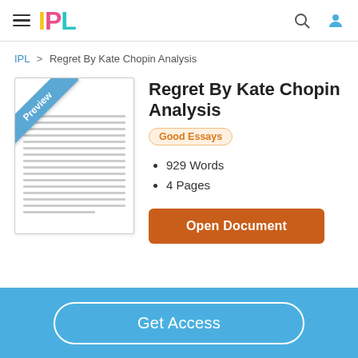IPL
IPL > Regret By Kate Chopin Analysis
Regret By Kate Chopin Analysis
Good Essays
929 Words
4 Pages
Open Document
Get Access